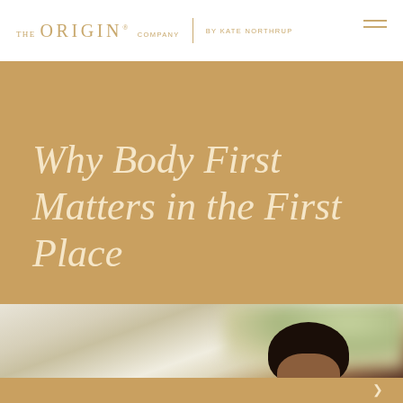THE ORIGIN® COMPANY | BY KATE NORTHRUP
Why Body First Matters in the First Place
[Figure (photo): Close-up blurred background photo of a woman with curly dark hair, outdoors with soft green bokeh background. Only the top of her head and forehead are visible at the bottom of the image area.]